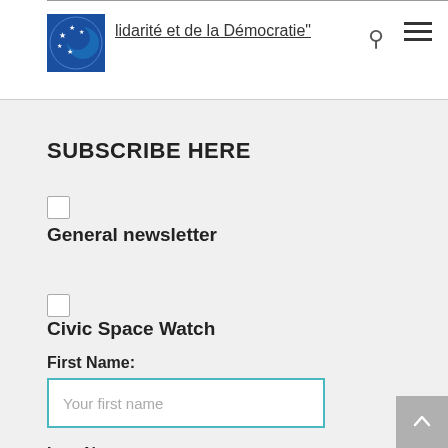lidarité et de la Démocratie"
SUBSCRIBE HERE
General newsletter
Civic Space Watch
First Name:
Your first name
Last Name: